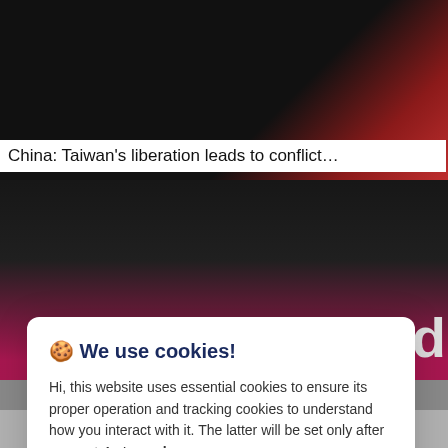[Figure (photo): Dark background with blurred red/green light, appears to be a news website article image at the top of the page.]
China: Taiwan's liberation leads to conflict…
[Figure (photo): Dark background image below the article title, with partial pink/magenta graphic visible at right edge and partial letter visible.]
🍪 We use cookies!
Hi, this website uses essential cookies to ensure its proper operation and tracking cookies to understand how you interact with it. The latter will be set only after consent. Let me choose
Accept all
Reject all